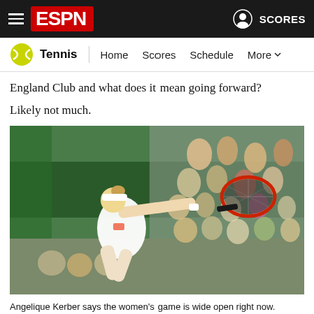ESPN Tennis — Home Scores Schedule More | SCORES
England Club and what does it mean going forward?
Likely not much.
[Figure (photo): Angelique Kerber reaching to hit a tennis shot at Wimbledon, with crowd in the background on green seats]
Angelique Kerber says the women's game is wide open right now.
Mike Hewitt/Getty Images